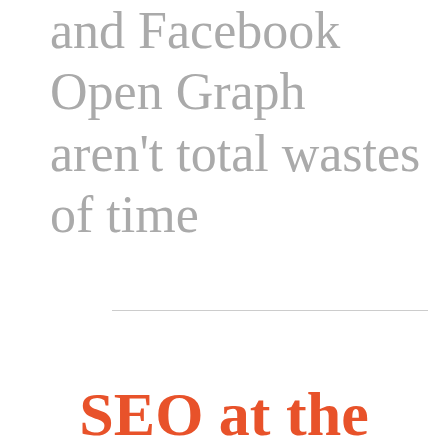and Facebook Open Graph aren't total wastes of time
SEO at the